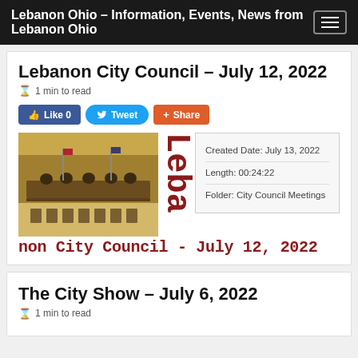Lebanon Ohio – Information, Events, News from Lebanon Ohio
Lebanon City Council – July 12, 2022
1 min to read
[Figure (screenshot): Social share buttons: Like 0 (Facebook), Tweet (Twitter), Share (Google+)]
[Figure (photo): City council chamber with people seated at a curved bench, American flags in background]
Created Date: July 13, 2022
Length: 00:24:22
Folder: City Council Meetings
Lebanon City Council - July 12, 2022
The City Show – July 6, 2022
1 min to read